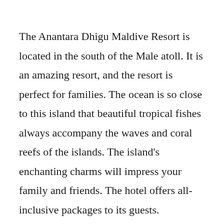The Anantara Dhigu Maldive Resort is located in the south of the Male atoll. It is an amazing resort, and the resort is perfect for families. The ocean is so close to this island that beautiful tropical fishes always accompany the waves and coral reefs of the islands. The island's enchanting charms will impress your family and friends. The hotel offers all-inclusive packages to its guests.